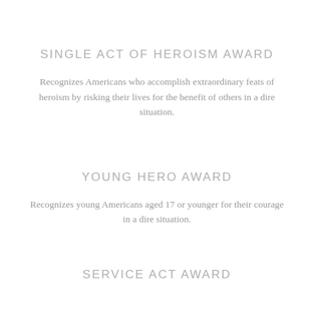SINGLE ACT OF HEROISM AWARD
Recognizes Americans who accomplish extraordinary feats of heroism by risking their lives for the benefit of others in a dire situation.
YOUNG HERO AWARD
Recognizes young Americans aged 17 or younger for their courage in a dire situation.
SERVICE ACT AWARD